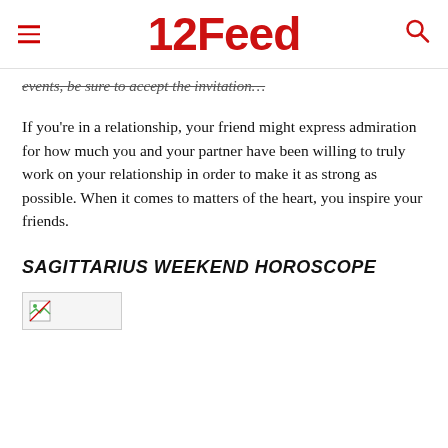12Feed
events, be sure to accept the invitation…
If you're in a relationship, your friend might express admiration for how much you and your partner have been willing to truly work on your relationship in order to make it as strong as possible. When it comes to matters of the heart, you inspire your friends.
SAGITTARIUS WEEKEND HOROSCOPE
[Figure (photo): Broken/missing image placeholder]